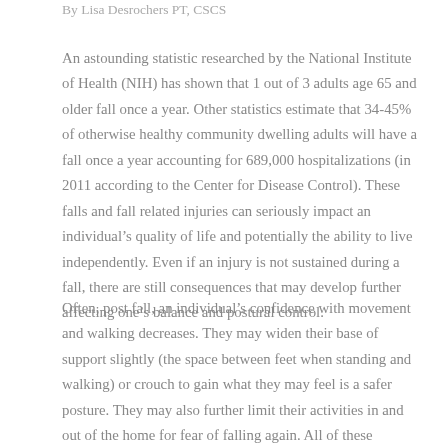By Lisa Desrochers PT, CSCS
An astounding statistic researched by the National Institute of Health (NIH) has shown that 1 out of 3 adults age 65 and older fall once a year. Other statistics estimate that 34-45% of otherwise healthy community dwelling adults will have a fall once a year accounting for 689,000 hospitalizations (in 2011 according to the Center for Disease Control). These falls and fall related injuries can seriously impact an individual’s quality of life and potentially the ability to live independently. Even if an injury is not sustained during a fall, there are still consequences that may develop further affecting one’s balance and postural control.
Often, post fall, an individual’s confidence with movement and walking decreases. They may widen their base of support slightly (the space between feet when standing and walking) or crouch to gain what they may feel is a safer posture. They may also further limit their activities in and out of the home for fear of falling again. All of these ultimately impact an individual’s reaction time